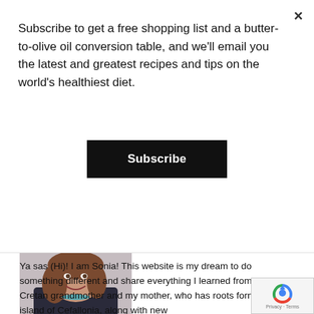Subscribe to get a free shopping list and a butter-to-olive oil conversion table, and we'll email you the latest and greatest recipes and tips on the world's healthiest diet.
Subscribe
[Figure (photo): Portrait photo of a smiling woman with brown hair wearing a black outfit and teal necklace against a light background]
Ya sas (Hi)! I am Sonia! This website is my dream to do something different and share everything I learned from my Cretan grandmother and my mother, who has roots form the island of Cefallonia, along with new